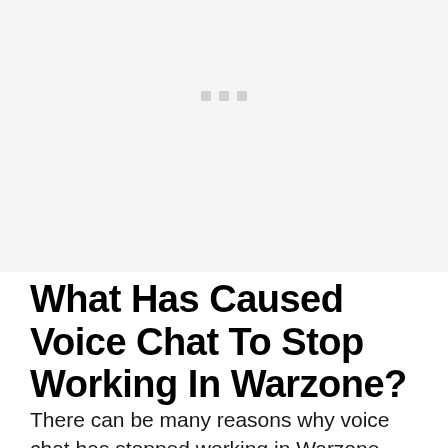[Figure (other): Light gray placeholder image area with three small gray squares/dots visible near the top center]
What Has Caused Voice Chat To Stop Working In Warzone?
There can be many reasons why voice chat has stopped working in Warzone.